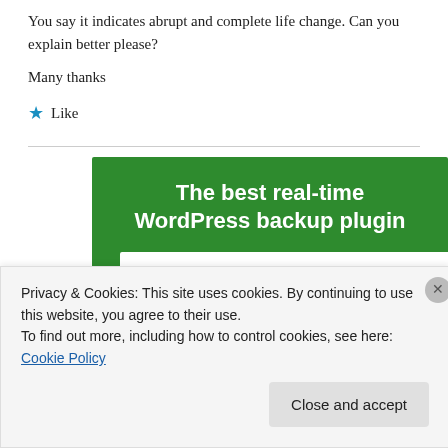You say it indicates abrupt and complete life change. Can you explain better please?
Many thanks
★ Like
[Figure (infographic): Green advertisement banner reading 'The best real-time WordPress backup plugin' with a white button below]
Privacy & Cookies: This site uses cookies. By continuing to use this website, you agree to their use.
To find out more, including how to control cookies, see here: Cookie Policy
Close and accept